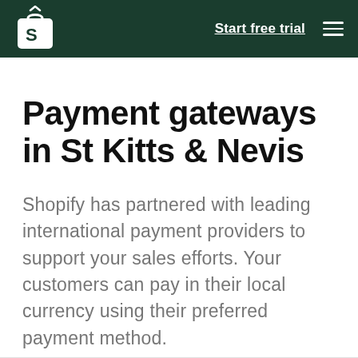Start free trial
Payment gateways in St Kitts & Nevis
Shopify has partnered with leading international payment providers to support your sales efforts. Your customers can pay in their local currency using their preferred payment method.